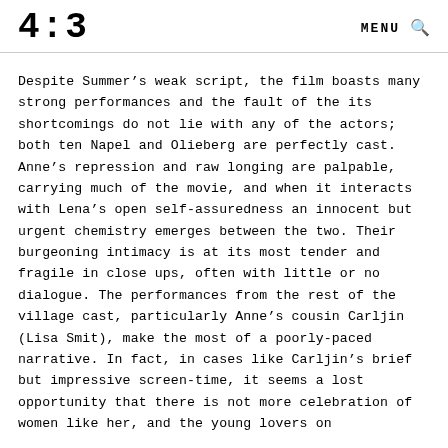4:3  MENU 🔍
Despite Summer's weak script, the film boasts many strong performances and the fault of the its shortcomings do not lie with any of the actors; both ten Napel and Olieberg are perfectly cast. Anne's repression and raw longing are palpable, carrying much of the movie, and when it interacts with Lena's open self-assuredness an innocent but urgent chemistry emerges between the two. Their burgeoning intimacy is at its most tender and fragile in close ups, often with little or no dialogue. The performances from the rest of the village cast, particularly Anne's cousin Carljin (Lisa Smit), make the most of a poorly-paced narrative. In fact, in cases like Carljin's brief but impressive screen-time, it seems a lost opportunity that there is not more celebration of women like her, and the young lovers on